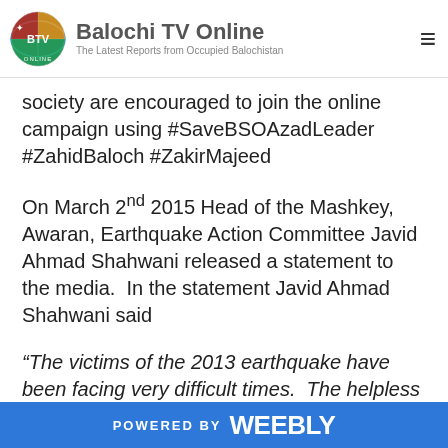Balochi TV Online — The Latest Reports from Occupied Balochistan
society are encouraged to join the online campaign using #SaveBSOAzadLeader #ZahidBaloch #ZakirMajeed
On March 2nd 2015 Head of the Mashkey, Awaran, Earthquake Action Committee Javid Ahmad Shahwani released a statement to the media.  In the statement Javid Ahmad Shahwani said
“The victims of the 2013 earthquake have been facing very difficult times.  The helpless victims are without shelter or food.  The recent rain and cold weather have
POWERED BY weebly